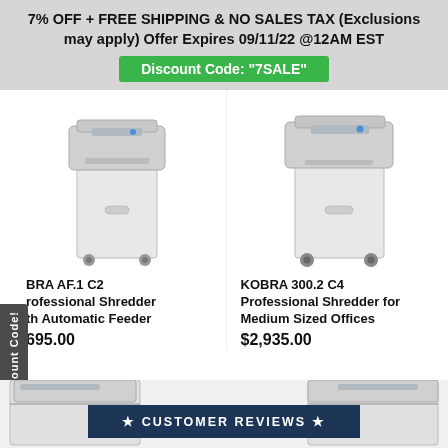7% OFF + FREE SHIPPING & NO SALES TAX (Exclusions may apply) Offer Expires 09/11/22 @12AM EST
Discount Code: "7SALE"
[Figure (photo): KOBRA AF.1 C2 Professional Shredder with Automatic Feeder - white floor shredder on casters]
[Figure (photo): KOBRA 300.2 C4 Professional Shredder for Medium Sized Offices - white floor shredder on casters]
KOBRA AF.1 C2 Professional Shredder with Automatic Feeder
$695.00
KOBRA 300.2 C4 Professional Shredder for Medium Sized Offices
$2,935.00
[Figure (photo): Partial view of two shredder units at bottom with CUSTOMER REVIEWS banner overlay]
★ CUSTOMER REVIEWS ★